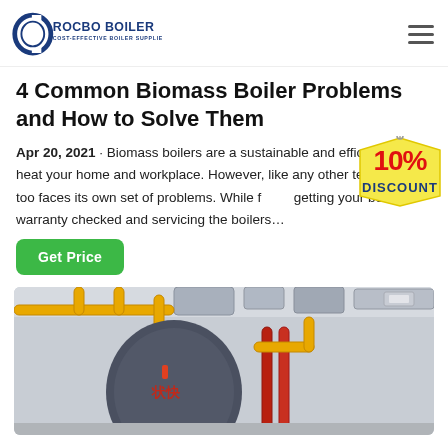ROCBO BOILER — COST-EFFECTIVE BOILER SUPPLIER
4 Common Biomass Boiler Problems and How to Solve Them
Apr 20, 2021 · Biomass boilers are a sustainable and efficient way to heat your home and workplace. However, like any other technology, it too faces its own set of problems. While getting your boiler warranty checked and servicing the boilers…
[Figure (infographic): 10% DISCOUNT badge/tag in red and yellow]
[Figure (photo): Industrial biomass boiler room with large grey cylindrical boiler, yellow pipes, red pipes, and grey ventilation ducts overhead]